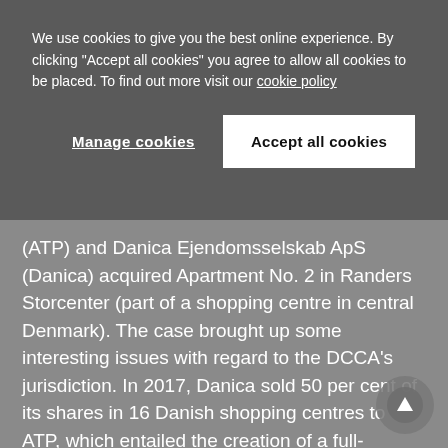We use cookies to give you the best online experience. By clicking "Accept all cookies" you agree to allow all cookies to be placed. To find out more visit our cookie policy
Manage cookies
Accept all cookies
(ATP) and Danica Ejendomsselskab ApS (Danica) acquired Apartment No. 2 in Randers Storcenter (part of a shopping centre in central Denmark). The case brought up some interesting issues with regard to the DCCA's jurisdiction. In 2017, Danica sold 50 per cent of its shares in 16 Danish shopping centres to ATP, which entailed the creation of a full-functioning joint venture. However, in 2018, the DCCA based the assessment of its own jurisdiction with regard to the acquisition of